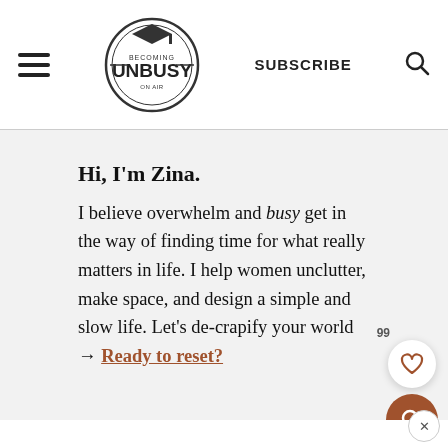BECOMING UNBUSY | SUBSCRIBE
Hi, I'm Zina.
I believe overwhelm and busy get in the way of finding time for what really matters in life. I help women unclutter, make space, and design a simple and slow life. Let's de-crapify your world → Ready to reset?